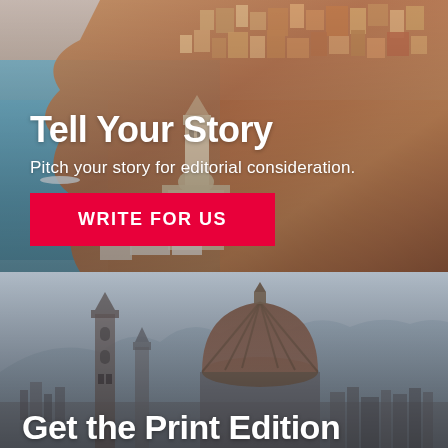[Figure (photo): Italian coastal town (Positano-style) with colorful buildings on hillside overlooking the sea, with a church/campanile in the middle ground]
Tell Your Story
Pitch your story for editorial consideration.
WRITE FOR US
[Figure (photo): Florence Cathedral (Duomo) with its iconic red dome and bell tower, set against mountains in the background]
Get the Print Edition